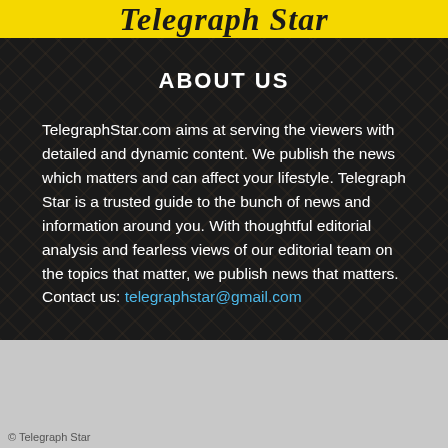[Figure (logo): Telegraph Star newspaper logo in yellow banner with black gothic/blackletter text]
ABOUT US
TelegraphStar.com aims at serving the viewers with detailed and dynamic content. We publish the news which matters and can affect your lifestyle. Telegraph Star is a trusted guide to the bunch of news and information around you. With thoughtful editorial analysis and fearless views of our editorial team on the topics that matter, we publish news that matters.
Contact us: telegraphstar@gmail.com
© Telegraph Star